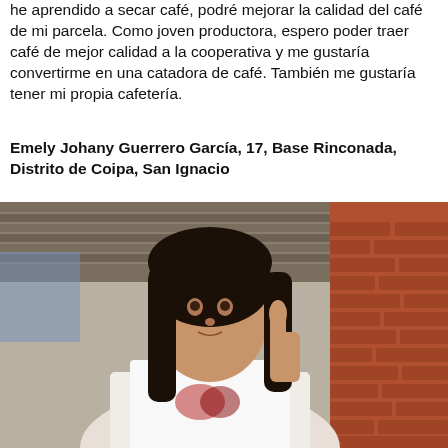he aprendido a secar café, podré mejorar la calidad del café de mi parcela. Como joven productora, espero poder traer café de mejor calidad a la cooperativa y me gustaría convertirme en una catadora de café. También me gustaría tener mi propia cafetería.
Emely Johany Guerrero García, 17, Base Rinconada, Distrito de Coipa, San Ignacio
[Figure (photo): Young woman giving a thumbs up, wearing a white sleeveless top, standing under a corrugated metal roof with a brick wall behind her.]